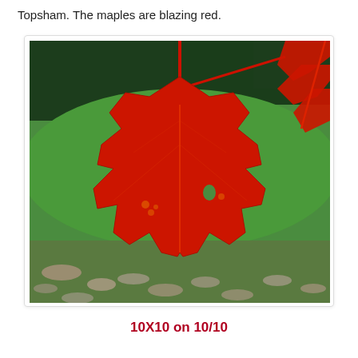Topsham. The maples are blazing red.
[Figure (photo): Close-up photograph of a blazing red sugar maple leaf in autumn, with a green lawn background and scattered fallen leaves at the bottom. A second red leaf is partially visible on the right side.]
10X10 on 10/10